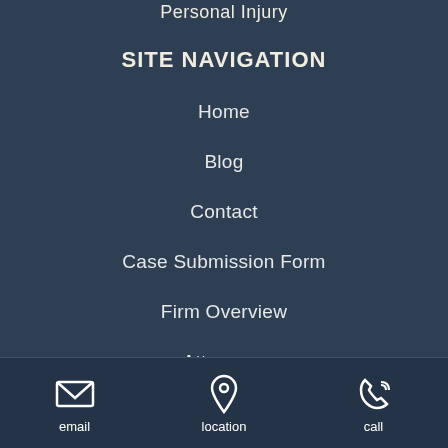Personal Injury
SITE NAVIGATION
Home
Blog
Contact
Case Submission Form
Firm Overview
Attorneys
Staff
email  location  call